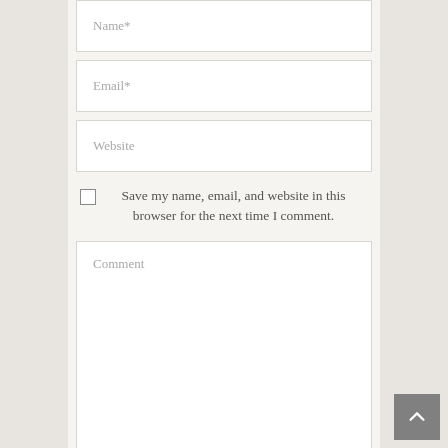Name*
Email*
Website
Save my name, email, and website in this browser for the next time I comment.
Comment